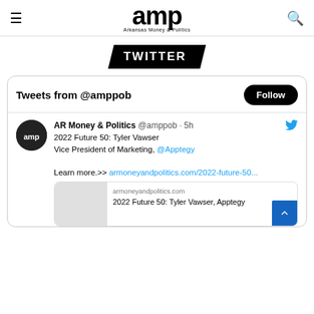amp — Arkansas Money & Politics
[Figure (logo): TWITTER text badge in black parallelogram shape]
Tweets from @amppob
AR Money & Politics @amppob · 5h
2022 Future 50: Tyler Vawser Vice President of Marketing, @Apptegy

Learn more.>> armoneyandpolitics.com/2022-future-50...
armoneyandpolitics.com
2022 Future 50: Tyler Vawser, Apptegy